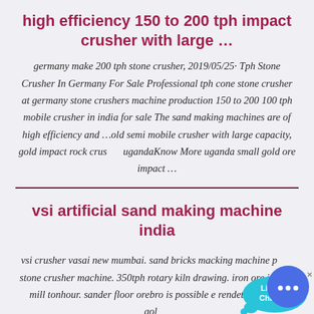high efficiency 150 to 200 tph impact crusher with large ...
germany make 200 tph stone crusher, 2019/05/25· Tph Stone Crusher In Germany For Sale Professional tph cone stone crusher at germany stone crushers machine production 150 to 200 100 tph mobile crusher in india for sale The sand making machines are of high efficiency and ...old semi mobile crusher with large capacity, gold impact rock crusher ugandaKnow More uganda small gold ore impact ...
vsi artificial sand making machine india
vsi crusher vasai new mumbai. sand bricks macking machine price stone crusher machine. 350tph rotary kiln drawing. iron ore impact mill tonhour. sander floor orebro is possible e rendet for drum. gold...